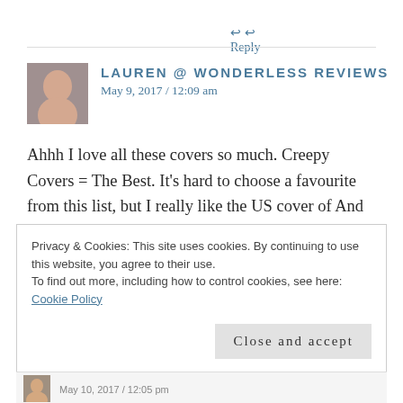↩ Reply
LAUREN @ WONDERLESS REVIEWS
May 9, 2017 / 12:09 am
Ahhh I love all these covers so much. Creepy Covers = The Best. It's hard to choose a favourite from this list, but I really like the US cover of And The Trees Crept In, The Woman in the Walls, Daughters Unto Devils and The Girl From the Well!!!
Privacy & Cookies: This site uses cookies. By continuing to use this website, you agree to their use.
To find out more, including how to control cookies, see here: Cookie Policy
Close and accept